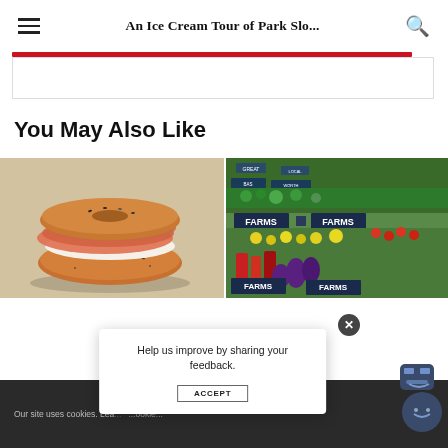An Ice Cream Tour of Park Slo...
You May Also Like
[Figure (photo): A sesame bagel topped with smoked salmon and cream cheese on a light wooden surface]
[Figure (photo): A farmers market produce stand with signs reading FARMS, LOCAL, and colorful vegetables and fruits]
Our site uses cookies. Lea... ...ookie...
Help us improve by sharing your feedback.
ACCEPT